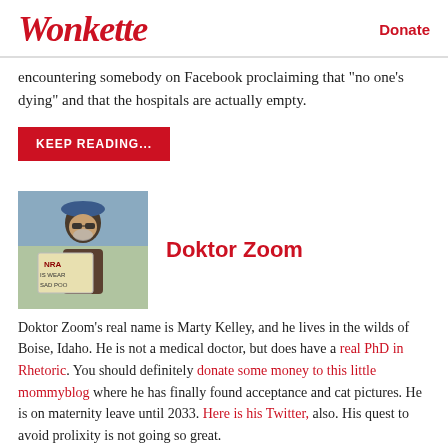Wonkette | Donate
encountering somebody on Facebook proclaiming that "no one's dying" and that the hospitals are actually empty.
KEEP READING...
[Figure (photo): Author photo of Doktor Zoom holding NRA protest sign]
Doktor Zoom
Doktor Zoom's real name is Marty Kelley, and he lives in the wilds of Boise, Idaho. He is not a medical doctor, but does have a real PhD in Rhetoric. You should definitely donate some money to this little mommyblog where he has finally found acceptance and cat pictures. He is on maternity leave until 2033. Here is his Twitter, also. His quest to avoid prolixity is not going so great.
[Figure (infographic): Social sharing buttons: Facebook, Twitter, LinkedIn, Plus, and comment count 379]